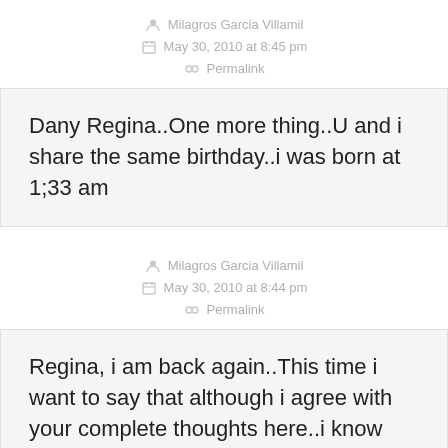Milagros Garcia Villamil
May 30, 2010 at 8:45 pm
Permalink
Dany Regina..One more thing..U and i share the same birthday..i was born at 1;33 am
Milagros Garcia Villamil
May 30, 2010 at 8:44 pm
Permalink
Regina, i am back again..This time i want to say that although i agree with your complete thoughts here..i know that had we as a people in amerikkka had found the wherewithal